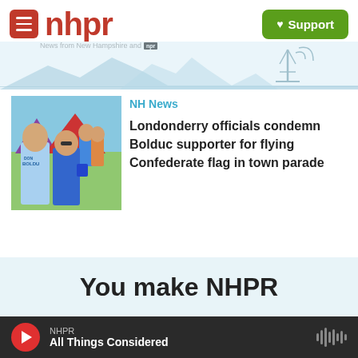nhpr — News from New Hampshire and NPR | Support
[Figure (screenshot): Photo of two people at an outdoor fair/parade, man wearing a Bolduc campaign t-shirt, woman in blue floral dress, red tent in background]
NH News
Londonderry officials condemn Bolduc supporter for flying Confederate flag in town parade
You make NHPR
NHPR — All Things Considered